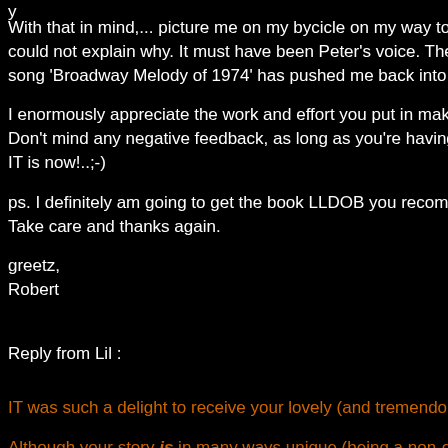With that in mind,... picture me on my bycicle on my way to school, listening to could not explain why. It must have been Peter's voice. The Analysis video's y song 'Broadway Melody of 1974' has pushed me back into "all of it".
I enormously appreciate the work and effort you put in making these video's. T Don't mind any negative feedback, as long as you're having fun with it and are IT is now!..;-)
ps. I definitely am going to get the book LLDOB you recommended. I think I ha Take care and thanks again.
greetz,
Robert
Reply from Lil :
IT was such a delight to receive your lovely (and tremendously moving) e-lette
Although your story is in many ways unique (being a non-english speaker...lik who have written me) - the way you both described and encapsulated the "org transformed through, via Gabriel's lyrics and Genesis' music - was deepl